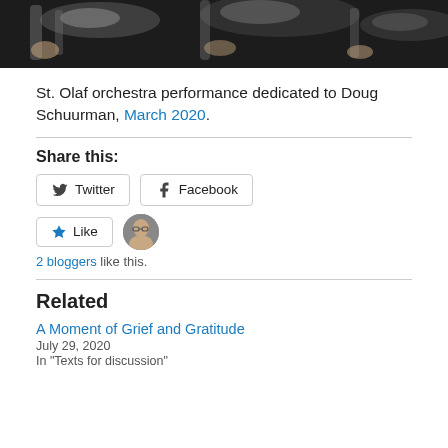[Figure (photo): Partial view of orchestra musicians playing instruments, showing hands and instruments from above, dark background]
St. Olaf orchestra performance dedicated to Doug Schuurman, March 2020.
Share this:
[Figure (other): Twitter and Facebook share buttons]
[Figure (other): Like button with star icon and blogger avatar thumbnail]
2 bloggers like this.
Related
A Moment of Grief and Gratitude
July 29, 2020
In "Texts for discussion"